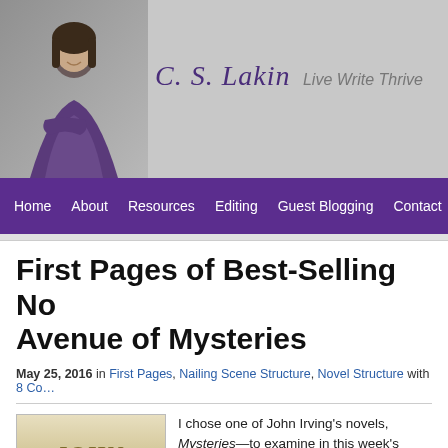[Figure (photo): Website header banner for C.S. Lakin / Live Write Thrive blog. A woman with dark hair wearing a purple top stands with arms crossed in front of a gray concrete wall on the left side. On the right is a cursive signature reading 'C.S. Lakin' followed by italic text 'Live Write Thrive'.]
Home  About  Resources  Editing  Guest Blogging  Contact
First Pages of Best-Selling No... Avenue of Mysteries
May 25, 2016 in First Pages, Nailing Scene Structure, Novel Structure with 8 Co...
[Figure (photo): Book cover showing the title JOHN in large gold letters above 'avenue of mysteries' in smaller text on a tan/cream background.]
I chose one of John Irving's novels, Avenue of Mysteries—to examine in this week's... pages. I read a lot of his books dec...